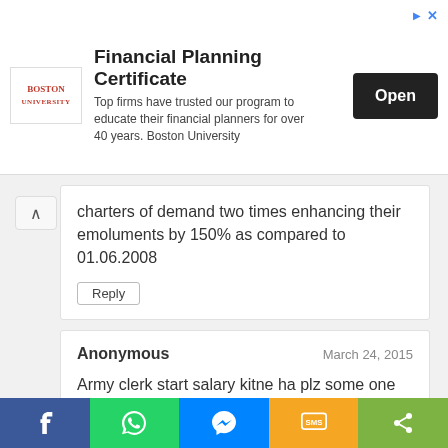[Figure (other): Boston University Financial Planning Certificate advertisement banner with Open button]
charters of demand two times enhancing their emoluments by 150% as compared to 01.06.2008
Reply
Anonymous
March 24, 2015
Army clerk start salary kitne ha plz some one tell me
Reply
[Figure (illustration): Orange circle avatar with Blogger B icon]
Unknown
March 31, 2015
Kindly Media Officers ka Pay Scale conform kr
[Figure (other): Social share bar with Facebook, WhatsApp, Messenger, SMS, and share buttons]